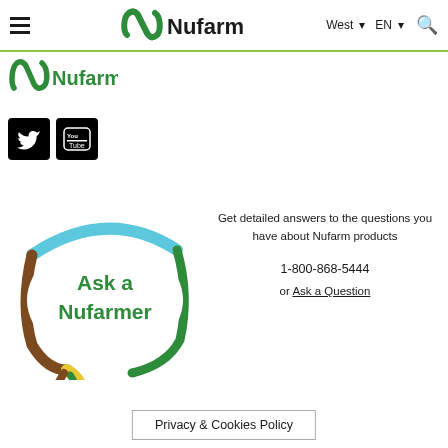≡ Nufarm  West ▼  EN ▼  🔍
[Figure (logo): Nufarm logo in green with stylized N icon]
[Figure (logo): Twitter bird icon white on black square]
[Figure (logo): YouTube icon white on black square]
[Figure (illustration): Ask a Nufarmer speech bubble illustration with colorful rope-like border and green text]
Get detailed answers to the questions you have about Nufarm products

1-800-868-5444
or Ask a Question
Privacy & Cookies Policy